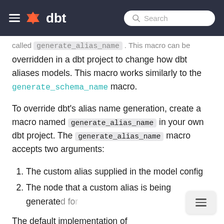dbt
called generate_alias_name . This macro can be overridden in a dbt project to change how dbt aliases models. This macro works similarly to the generate_schema_name macro.
To override dbt's alias name generation, create a macro named generate_alias_name in your own dbt project. The generate_alias_name macro accepts two arguments:
1. The custom alias supplied in the model config
2. The node that a custom alias is being generated for
The default implementation of